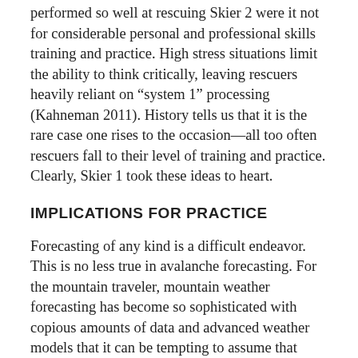performed so well at rescuing Skier 2 were it not for considerable personal and professional skills training and practice. High stress situations limit the ability to think critically, leaving rescuers heavily reliant on “system 1” processing (Kahneman 2011). History tells us that it is the rare case one rises to the occasion—all too often rescuers fall to their level of training and practice. Clearly, Skier 1 took these ideas to heart.
IMPLICATIONS FOR PRACTICE
Forecasting of any kind is a difficult endeavor. This is no less true in avalanche forecasting. For the mountain traveler, mountain weather forecasting has become so sophisticated with copious amounts of data and advanced weather models that it can be tempting to assume that avalanche forecasting is conducted in the same manner and with the same accuracy and precision. However, avalanche forecasts are considerably less